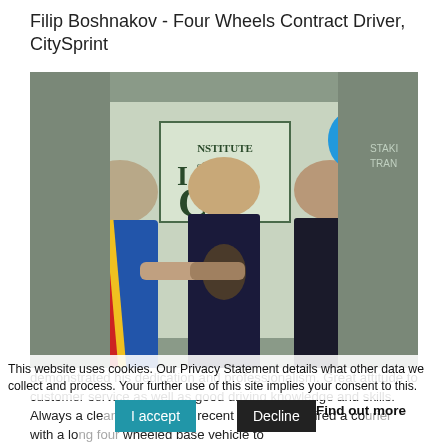Filip Boshnakov - Four Wheels Contract Driver, CitySprint
[Figure (photo): Three men standing in front of an Institute of Couriers banner. The man on the left wears a ceremonial blue robe with a sash; the man in the center holds a trophy; the man on the right holds a large blue foam hand and wears a dark suit.]
This website uses cookies. Our Privacy Statement details what other data we collect and process. Your further use of this site implies your consent to this.
demonstrated his dedication and professionalism. Great attitude to customer service as well as good driving knowledge and skills. Always a cle... a... g. A recent contract required a co... with a lo... wheeled base vehicle to